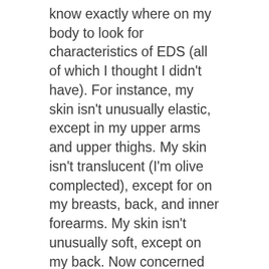know exactly where on my body to look for characteristics of EDS (all of which I thought I didn't have). For instance, my skin isn't unusually elastic, except in my upper arms and upper thighs. My skin isn't translucent (I'm olive complected), except for on my breasts, back, and inner forearms. My skin isn't unusually soft, except on my back. Now concerned that I might have Vascular Type EDS (vEDS), he decided to have me tested for that. The test was easy on my part but expensive on theirs. They drew blood and had it refrigerated and shipped to a lab in Washington state. It took thirty days for them to make sure that there was no mutation in my COL3A1 (collagen 3; alpha 1) gene, which has a median mortality age of 48. Initially, I felt devastated, since I was already 44. I decided that I hadn't fought through all that I had, to only live a few more years. Thirty days later, the test came back indicating that I didn't have vEDS and by default, I was diagnosed with